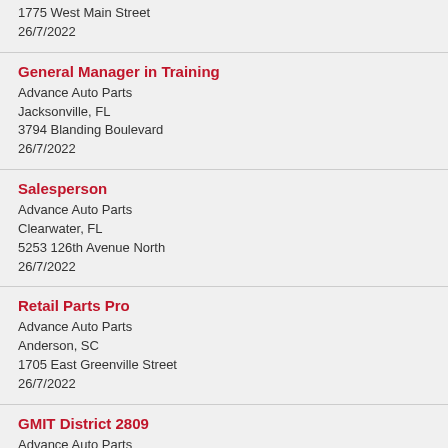1775 West Main Street
26/7/2022
General Manager in Training
Advance Auto Parts
Jacksonville, FL
3794 Blanding Boulevard
26/7/2022
Salesperson
Advance Auto Parts
Clearwater, FL
5253 126th Avenue North
26/7/2022
Retail Parts Pro
Advance Auto Parts
Anderson, SC
1705 East Greenville Street
26/7/2022
GMIT District 2809
Advance Auto Parts
Kenmore, NY
3445 Delaware Avenue